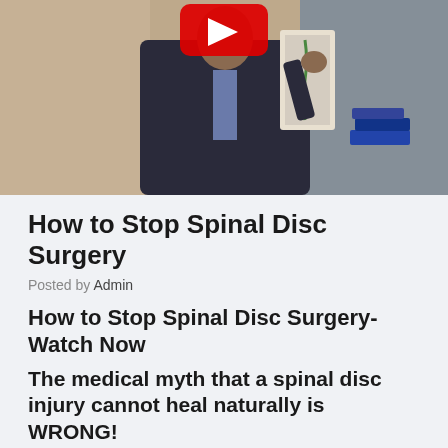[Figure (photo): A man in a dark suit standing in front of a wall, with a red play button overlay at the top center, appearing to be a video thumbnail. Books and a medical chart are visible in the background.]
How to Stop Spinal Disc Surgery
Posted by Admin
How to Stop Spinal Disc Surgery- Watch Now
The medical myth that a spinal disc injury cannot heal naturally is WRONG!
Dr. Ratkovic explains how